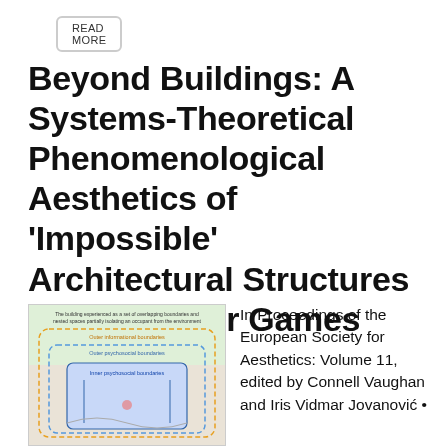READ MORE
Beyond Buildings: A Systems-Theoretical Phenomenological Aesthetics of 'Impossible' Architectural Structures for Computer Games
[Figure (illustration): Diagram showing a building experienced as a set of overlapping boundaries and nested spaces partially isolating an occupant from the environment. Shows outer informational boundaries, outer psychosocial boundaries, and inner psychosocial boundaries as nested rounded rectangles with labels, on a light green/pink gradient background.]
In Proceedings of the European Society for Aesthetics: Volume 11, edited by Connell Vaughan and Iris Vidmar Jovanović •